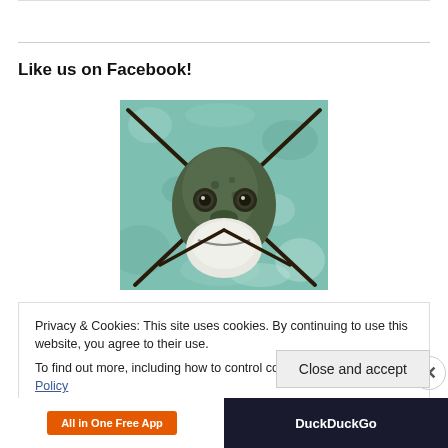Like us on Facebook!
[Figure (illustration): Front-facing fish illustration with crossed spines/spears on a teal/turquoise mottled background, showing a catfish-like face with large white mouth and prominent eyes]
Privacy & Cookies: This site uses cookies. By continuing to use this website, you agree to their use.
To find out more, including how to control cookies, see here: Cookie Policy
Close and accept